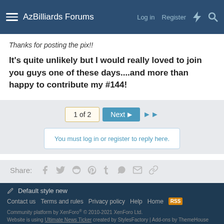AzBilliards Forums — Log in | Register
Thanks for posting the pix!!
It's quite unlikely but I would really loved to join you guys one of these days....and more than happy to contribute my #144!
1 of 2  Next
You must log in or register to reply here.
Share:
< Cue & Case Gallery
Default style new | Contact us | Terms and rules | Privacy policy | Help | Home | Community platform by XenForo® © 2010-2021 XenForo Ltd. Website is using Ultimate News Ticker created by StylesFactory | Add-ons by ThemeHouse